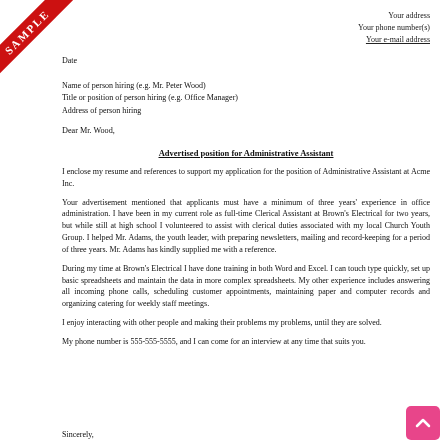[Figure (other): Red diagonal SAMPLE banner ribbon in top-left corner]
Your address
Your phone number(s)
Your e-mail address
Date
Name of person hiring (e.g. Mr. Peter Wood)
Title or position of person hiring (e.g. Office Manager)
Address of person hiring
Dear Mr. Wood,
Advertised position for Administrative Assistant
I enclose my resume and references to support my application for the position of Administrative Assistant at Acme Inc.
Your advertisement mentioned that applicants must have a minimum of three years' experience in office administration. I have been in my current role as full-time Clerical Assistant at Brown's Electrical for two years, but while still at high school I volunteered to assist with clerical duties associated with my local Church Youth Group. I helped Mr. Adams, the youth leader, with preparing newsletters, mailing and record-keeping for a period of three years. Mr. Adams has kindly supplied me with a reference.
During my time at Brown's Electrical I have done training in both Word and Excel. I can touch type quickly, set up basic spreadsheets and maintain the data in more complex spreadsheets. My other experience includes answering all incoming phone calls, scheduling customer appointments, maintaining paper and computer records and organizing catering for weekly staff meetings.
I enjoy interacting with other people and making their problems my problems, until they are solved.
My phone number is 555-555-5555, and I can come for an interview at any time that suits you.
Sincerely,